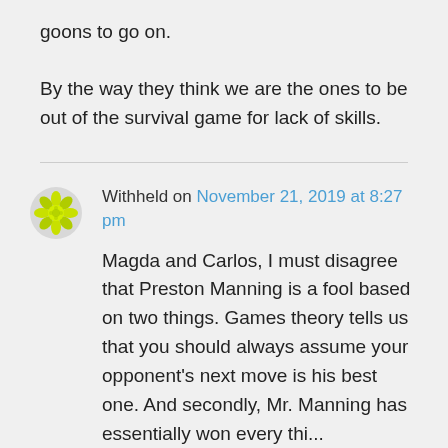goons to go on. By the way they think we are the ones to be out of the survival game for lack of skills.
Withheld on November 21, 2019 at 8:27 pm
Magda and Carlos, I must disagree that Preston Manning is a fool based on two things. Games theory tells us that you should always assume your opponent's next move is his best one. And secondly, Mr. Manning has essentially won every thi...